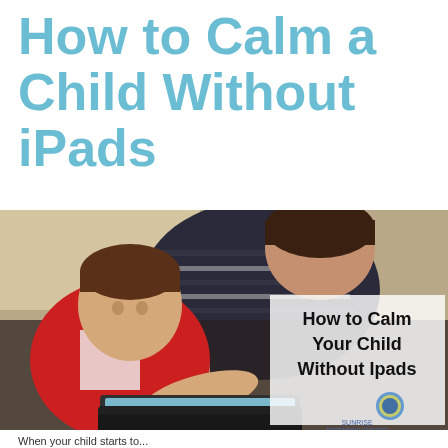How to Calm a Child Without iPads
[Figure (photo): A mother and young toddler child looking at an iPad/tablet together. The child is wearing a red vest and white shirt, touching the tablet screen. The mother is wearing a dark striped top and smiling. Overlaid text reads: 'How to Calm Your Child Without Ipads' with a small logo in the bottom right corner.]
When your child starts to...